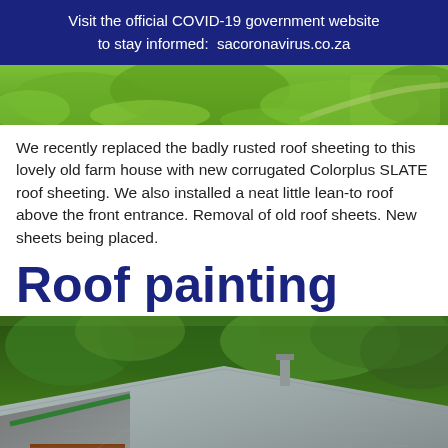Visit the official COVID-19 government website to stay informed: sacoronavirus.co.za
[Figure (photo): Aerial/close-up view of green garden/lawn with bushes and a path]
We recently replaced the badly rusted roof sheeting to this lovely old farm house with new corrugated Colorplus SLATE roof sheeting. We also installed a neat little lean-to roof above the front entrance. Removal of old roof sheets. New sheets being placed.
Roof painting
[Figure (photo): View of a tiled roof with grey slate tiles, green ridge cap, brick chimney/walls, surrounded by green trees]